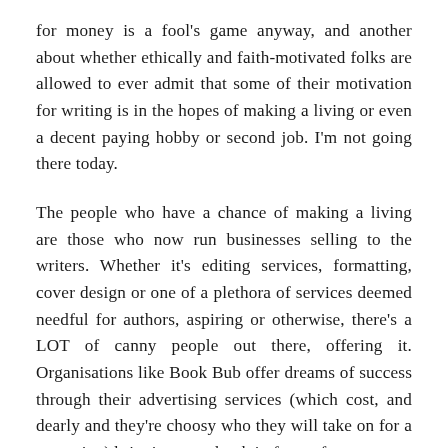for money is a fool's game anyway, and another about whether ethically and faith-motivated folks are allowed to ever admit that some of their motivation for writing is in the hopes of making a living or even a decent paying hobby or second job. I'm not going there today.
The people who have a chance of making a living are those who now run businesses selling to the writers. Whether it's editing services, formatting, cover design or one of a plethora of services deemed needful for authors, aspiring or otherwise, there's a LOT of canny people out there, offering it. Organisations like Book Bub offer dreams of success through their advertising services (which cost, and dearly and they're choosy who they will take on for a campaign) bringing your book in front of an